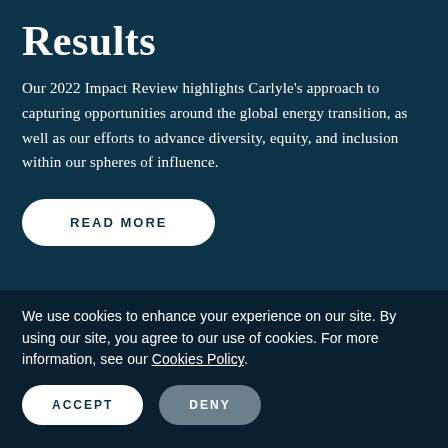Results
Our 2022 Impact Review highlights Carlyle's approach to capturing opportunities around the global energy transition, as well as our efforts to advance diversity, equity, and inclusion within our spheres of influence.
READ MORE
We use cookies to enhance your experience on our site. By using our site, you agree to our use of cookies. For more information, see our Cookies Policy.
ACCEPT
DENY